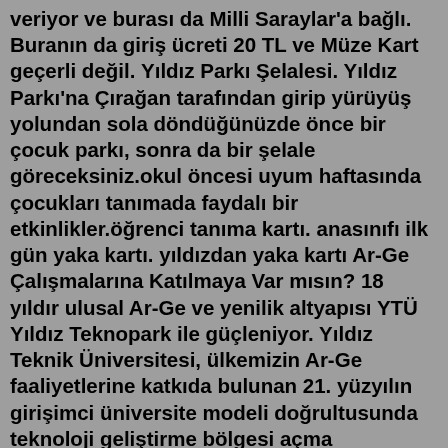veriyor ve burası da Milli Saraylar'a bağlı. Buranın da giriş ücreti 20 TL ve Müze Kart geçerli değil. Yıldız Parkı Şelalesi. Yıldız Parkı'na Çırağan tarafından girip yürüyüş yolundan sola döndüğünüzde önce bir çocuk parkı, sonra da bir şelale göreceksiniz.okul öncesi uyum haftasında çocukları tanımada faydalı bir etkinlikler.öğrenci tanıma kartı. anasınıfı ilk gün yaka kartı. yıldızdan yaka kartı Ar-Ge Çalışmalarına Katılmaya Var mısın? 18 yıldır ulusal Ar-Ge ve yenilik altyapısı YTÜ Yıldız Teknopark ile güçleniyor. Yıldız Teknik Üniversitesi, ülkemizin Ar-Ge faaliyetlerine katkıda bulunan 21. yüzyılın girişimci üniversite modeli doğrultusunda teknoloji geliştirme bölgesi açma faaliyetlerine başlamış ve 2003 yılında YTÜ Yıldız Teknopark'ı ...Yıldız Muhafızı Etkinlik Kartı'nın sunduğu tüm ödülleri açmak için 975 LoRa karşılığında özel etkinlik kartını edinebilirsin. Yıldız Muhafızı Etkinlik Kartı'ndan kazanabileceğin 60 ödülün tamamını oyun içindeki Etkinlik sekmesinde yer alan Etkinlik Yolu menüsünden